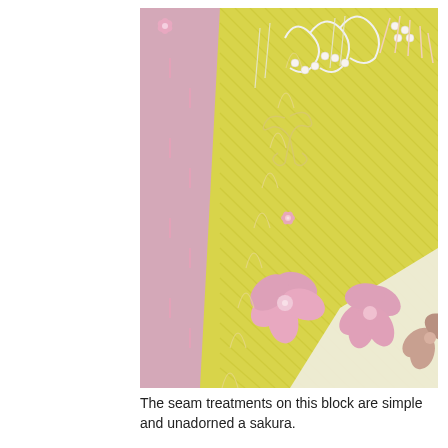[Figure (photo): Close-up photograph of embroidered fabric featuring yellow diagonal-striped silk with pink ribbon sakura (cherry blossom) flowers, pearl beads, and delicate white embroidered scrollwork. Pink fabric patches visible on the left and cream fabric on the lower right. The embroidery includes intricate floral motifs and cursive-style stitching.]
The seam treatments on this block are simple and unadorned a sakura.